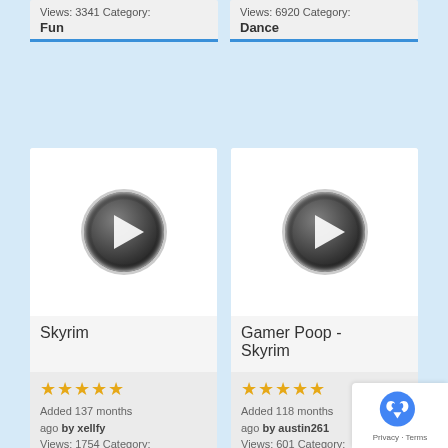Views: 3341 Category: Fun
Views: 6920 Category: Dance
[Figure (screenshot): Video card for Skyrim with play button thumbnail, 5-star rating, Added 137 months ago by xellfy, Views: 1754 Category: Fun]
[Figure (screenshot): Video card for Gamer Poop - Skyrim with play button thumbnail, 5-star rating, Added 118 months ago by austin261, Views: 601 Category: Fun]